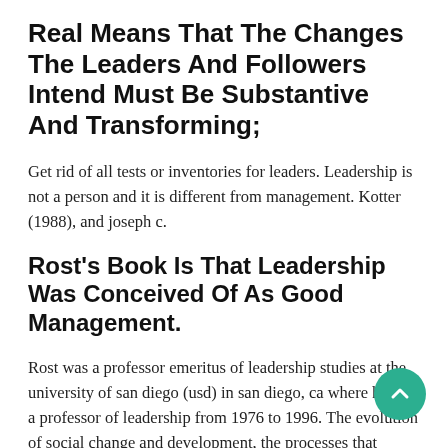Real Means That The Changes The Leaders And Followers Intend Must Be Substantive And Transforming;
Get rid of all tests or inventories for leaders. Leadership is not a person and it is different from management. Kotter (1988), and joseph c.
Rost's Book Is That Leadership Was Conceived Of As Good Management.
Rost was a professor emeritus of leadership studies at the university of san diego (usd) in san diego, ca where he was a professor of leadership from 1976 to 1996. The evolution of social change and development, the processes that influence social development, and the